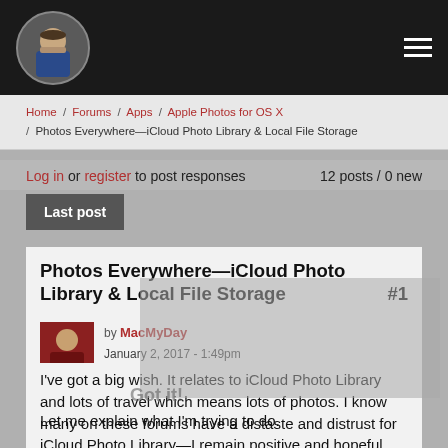[Figure (photo): Dark header bar with circular avatar photo of a bearded man in a blue shirt on the left, and a hamburger menu icon on the right]
Home / Forums / Apps / Apple Photos for OS X / Photos Everywhere—iCloud Photo Library & Local File Storage
Log in or register to post responses   12 posts / 0 new
Last post
Photos Everywhere—iCloud Photo Library & Local File Storage #1
by MacMyDay
January 2, 2017 - 1:49pm
I've got a big wish. It relates to iCloud Photo Library and lots of travel which means lots of photos. I know many on these forums have a distaste and distrust for iCloud Photo Library—I remain positive and hopeful.
Let me explain what I'm trying to do.